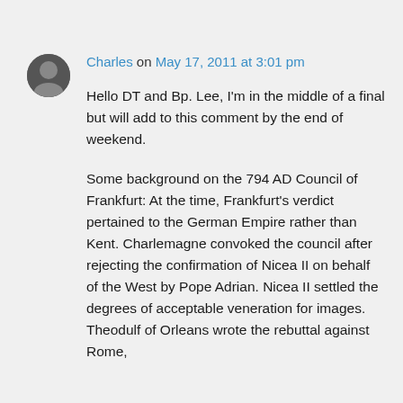Charles on May 17, 2011 at 3:01 pm
Hello DT and Bp. Lee, I'm in the middle of a final but will add to this comment by the end of weekend.
Some background on the 794 AD Council of Frankfurt: At the time, Frankfurt's verdict pertained to the German Empire rather than Kent. Charlemagne convoked the council after rejecting the confirmation of Nicea II on behalf of the West by Pope Adrian. Nicea II settled the degrees of acceptable veneration for images. Theodulf of Orleans wrote the rebuttal against Rome,